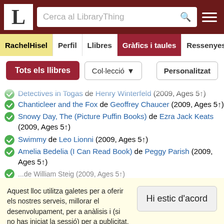LibraryThing - Cerca al LibraryThing header with logo and search
RachelHisel | Perfil | Llibres | Gràfics i taules | Ressenyes navigation tabs
Tots els llibres | Col·lecció | Personalitzat controls
Detectives in Togas de Henry Winterfeld (2009, Ages 5↑)
Chanticleer and the Fox de Geoffrey Chaucer (2009, Ages 5↑)
Snowy Day, The (Picture Puffin Books) de Ezra Jack Keats (2009, Ages 5↑)
Swimmy de Leo Lionni (2009, Ages 5↑)
Amelia Bedelia (I Can Read Book) de Peggy Parish (2009, Ages 5↑)
Aquest lloc utilitza galetes per a oferir els nostres serveis, millorar el desenvolupament, per a anàlisis i (si no has iniciat la sessió) per a publicitat. Utilitzant LibraryThing acceptes que has llegit i entès els nostres Termes de servei i política de privacitat. L'ús que facis del lloc i dels seus serveis està subjecte a aquestes polítiques i termes.
Hi estic d'acord